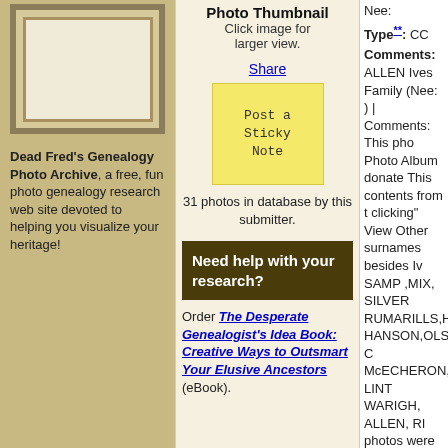[Figure (photo): Photo frame placeholder with nested border styling]
Dead Fred's Genealogy Photo Archive, a free, fun photo genealogy research web site devoted to helping you visualize your heritage!
Photo Thumbnail
Click image for larger view.
Share
[Figure (other): Yellow sticky note with text: Post a Sticky Note]
31 photos in database by this submitter.
Need help with your research?
Order The Desperate Genealogist's Idea Book: Creative Ways to Outsmart Your Elusive Ancestors (eBook).
Nee:
Type**: CC
Comments: ALLEN Ives Family (Nee: ) | Comments: This pho Photo Album donatedThis contents from th clicking" View Other surnames besides Iv SAMP ,MIX, SILVER RUMARILLS,HETTS HANSON,OLSON, C McECHERON, LINT WARIGH, ALLEN, RI photos were taken in include OH, CA, CT,M four page letter dated Palmere Memorial H between sisters . Ma bequeathed to Dead upon her passing . M collecting these phot markets, antique sho She spent many yea each photo so she c family.Her selfless ef over 2,000 Ancestors collection is Marges work of genealogy a caring lady. To see a Marge Rice" in the k front page of DeadFr you have a question visit DeadFred on Fa https://www.facebo pnref=lhc Instagram: https://www.instagra